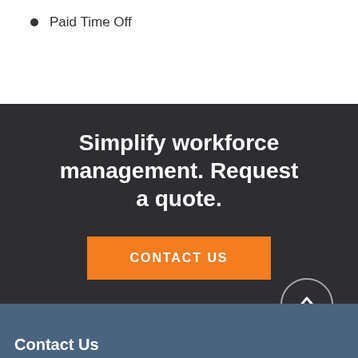Paid Time Off
Simplify workforce management. Request a quote.
CONTACT US
Contact Us